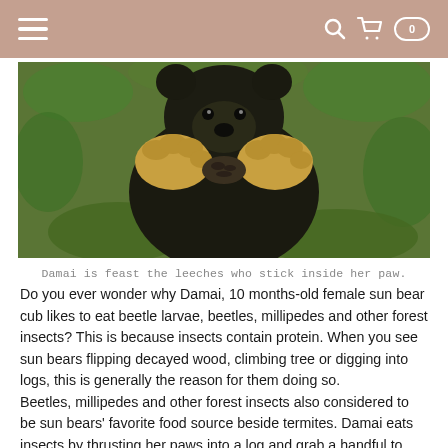Navigation header with hamburger menu and search/cart icons
[Figure (photo): A black sun bear cub (Damai) holding and eating leeches from its paw, surrounded by green forest foliage. The bear's yellowish-tan paws are visible against its black fur.]
Damai is feast the leeches who stick inside her paw.
Do you ever wonder why Damai, 10 months-old female sun bear cub likes to eat beetle larvae, beetles, millipedes and other forest insects? This is because insects contain protein. When you see sun bears flipping decayed wood, climbing tree or digging into logs, this is generally the reason for them doing so.
Beetles, millipedes and other forest insects also considered to be sun bears' favorite food source beside termites. Damai eats insects by thrusting her paws into a log and grab a handful to eat.  Her powerful claws are used to break into log and get access to the insects. She also detects the insects by her keen